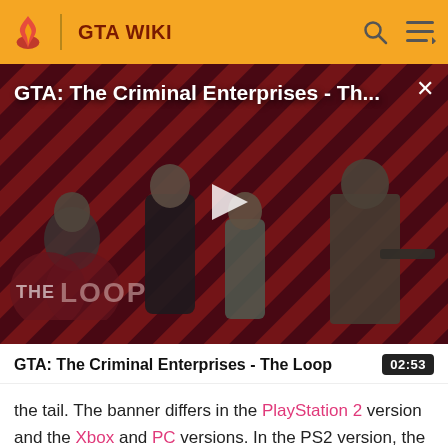GTA WIKI
[Figure (screenshot): Video thumbnail for 'GTA: The Criminal Enterprises - The Loop' showing game characters on a red diagonal-striped background with a play button overlay and 'THE LOOP' watermark logo]
GTA: The Criminal Enterprises - The Loop
02:53
the tail. The banner differs in the PlayStation 2 version and the Xbox and PC versions. In the PS2 version, the banner will have the generic newspaper with the SWAT